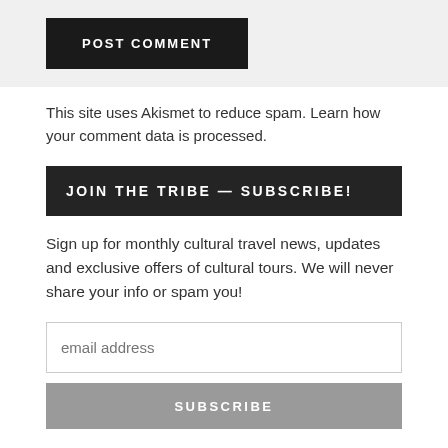POST COMMENT
This site uses Akismet to reduce spam. Learn how your comment data is processed.
JOIN THE TRIBE — SUBSCRIBE!
Sign up for monthly cultural travel news, updates and exclusive offers of cultural tours. We will never share your info or spam you!
email address
SUBSCRIBE